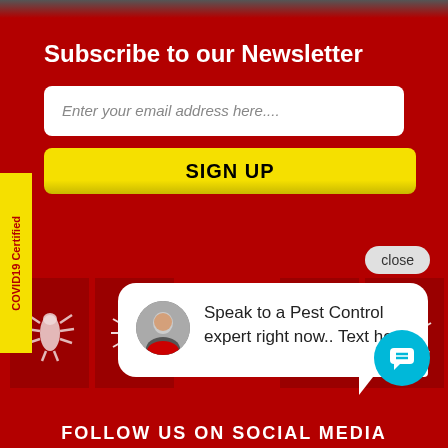Subscribe to our Newsletter
Enter your email address here....
SIGN UP
COVID19 Certified
close
Speak to a Pest Control expert right now.. Text here
[Figure (infographic): Pest control icons grid showing cockroach, ant, spider, flea in dark red boxes]
FOLLOW US ON SOCIAL MEDIA